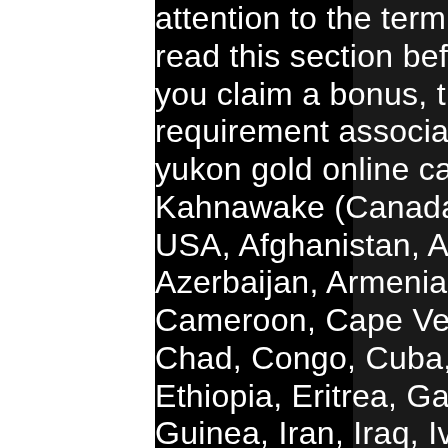attention to the term before, we recommend you read this section before claiming any bonus. When you claim a bonus, there will be a wagering requirement associated with the promotion, is yukon gold online casino real. License: Kahnawake (Canada) Restricted Jurisdictions: USA, Afghanistan, Albania, Algeria, Angola, Azerbaijan, Armenia, Bhutan, Myanmar, Belarus, Cameroon, Cape Verde, Central African Republic, Chad, Congo, Cuba, Benin, Equitorial Guinea, Ethiopia, Eritrea, Gabon, Gambia, Ghana, Kiribati, Guinea, Iran, Iraq, Ivory Coast, Denmark, Korea, Kyrgyzstan, Lesotho, Liberia, Libya, Madagascar, Malawi, Maldives, Mali, Mauritania, Moldova, Morocco, Mozambique, Nauru, Niger, Nigeria, Pakistan, Pitcairn, Guinea-Bissau, Rwanda, Senegal, Sierra Leone, Somalia, South Africa, Zimbabwe, Spain, Sudan, Syria, Uganda, Tanzania, Burkina Faso, Zambia, Over 450 Games Available At Both...